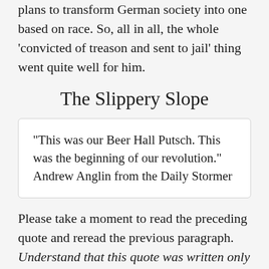Kampf, an autobiography which detailed his plans to transform German society into one based on race. So, all in all, the whole ‘convicted of treason and sent to jail’ thing went quite well for him.
The Slippery Slope
“This was our Beer Hall Putsch. This was the beginning of our revolution.” Andrew Anglin from the Daily Stormer
Please take a moment to read the preceding quote and reread the previous paragraph. Understand that this quote was written only a few days ago, in the aftermath of the ‘Unite the Right’ rally in Charlottesville. The various groups behind the ‘Unite the Right’ rally are very well